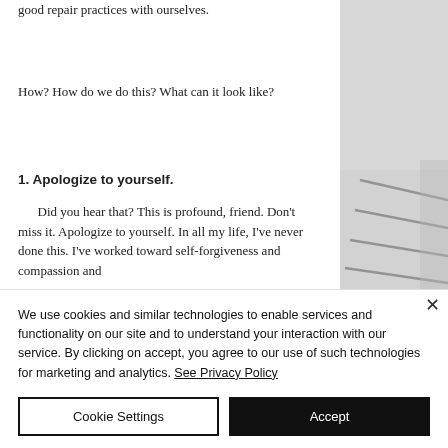good repair practices with ourselves.
How? How do we do this? What can it look like?
1. Apologize to yourself.
Did you hear that? This is profound, friend. Don't miss it. Apologize to yourself. In all my life, I've never done this. I've worked toward self-forgiveness and compassion and
[Figure (photo): Partial photo of a white woven/knit textile with dark stripe details, visible on the right side of the page]
We use cookies and similar technologies to enable services and functionality on our site and to understand your interaction with our service. By clicking on accept, you agree to our use of such technologies for marketing and analytics. See Privacy Policy
Cookie Settings
Accept